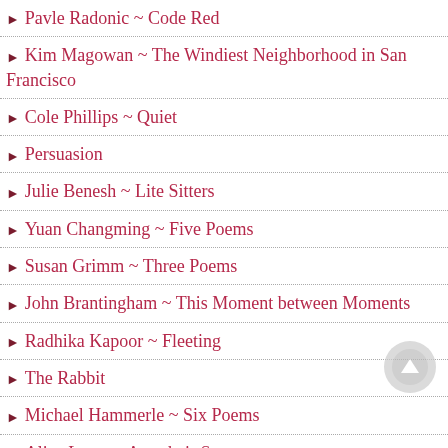Pavle Radonic ~ Code Red
Kim Magowan ~ The Windiest Neighborhood in San Francisco
Cole Phillips ~ Quiet
Persuasion
Julie Benesh ~ Lite Sitters
Yuan Changming ~ Five Poems
Susan Grimm ~ Three Poems
John Brantingham ~ This Moment between Moments
Radhika Kapoor ~ Fleeting
The Rabbit
Michael Hammerle ~ Six Poems
Alice Lowe ~ Armchair Spy